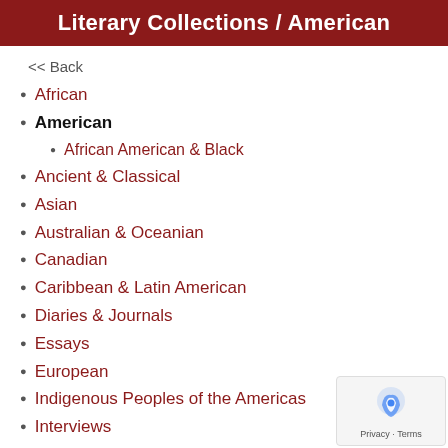Literary Collections / American
<< Back
African
American
African American & Black
Ancient & Classical
Asian
Australian & Oceanian
Canadian
Caribbean & Latin American
Diaries & Journals
Essays
European
Indigenous Peoples of the Americas
Interviews
LGBTQ+